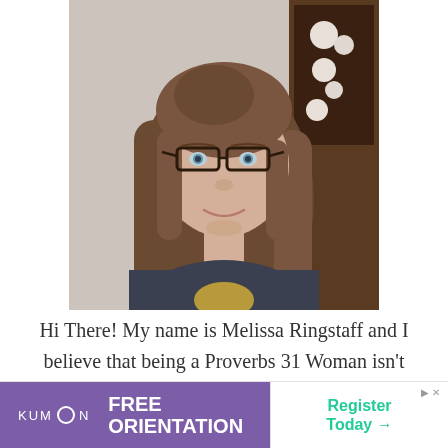[Figure (photo): Portrait photo of a woman with long brown hair and glasses, smiling, wearing a dark navy t-shirt, with a cabinet with dishes visible in the background.]
Hi There! My name is Melissa Ringstaff and I believe that being a Proverbs 31 Woman isn't about being perfect. Here at A Virtuous Woman you'll find freedom from perfection and the
[Figure (other): Kumon advertisement banner with purple background on the left showing 'KUMON FREE Orientation' and white background on the right showing 'Register Today →']